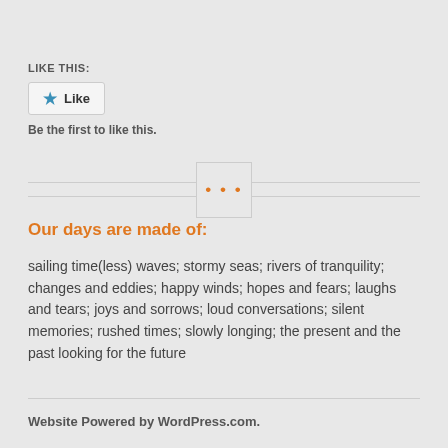LIKE THIS:
Like
Be the first to like this.
[Figure (other): Ellipsis button/separator with three dots inside a bordered square box, centered between two horizontal divider lines]
Our days are made of:
sailing time(less) waves; stormy seas; rivers of tranquility; changes and eddies; happy winds; hopes and fears; laughs and tears; joys and sorrows; loud conversations; silent memories; rushed times; slowly longing; the present and the past looking for the future
Website Powered by WordPress.com.